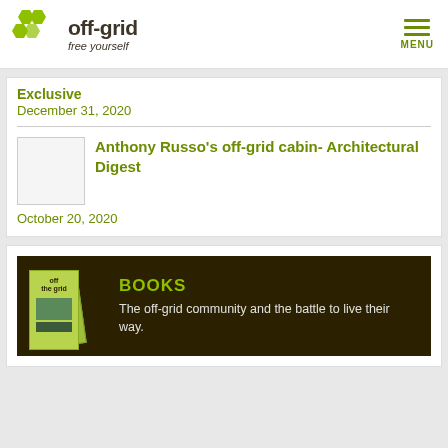off-grid — free yourself | MENU
Exclusive
December 31, 2020
Anthony Russo's off-grid cabin- Architectural Digest
October 20, 2020
[Figure (other): Books banner: dark brown background with book covers for 'off the grid' and text 'BOOKS — The off-grid community and the battle to live their way.']